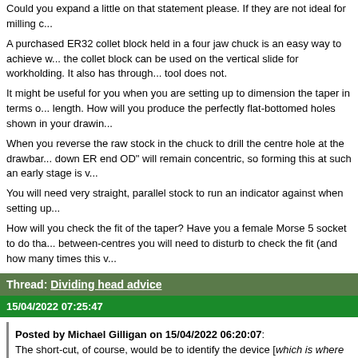Could you expand a little on that statement please. If they are not ideal for milling c...
A purchased ER32 collet block held in a four jaw chuck is an easy way to achieve w... the collet block can be used on the vertical slide for workholding. It also has through... tool does not.
It might be useful for you when you are setting up to dimension the taper in terms o... length. How will you produce the perfectly flat-bottomed holes shown in your drawin...
When you reverse the raw stock in the chuck to drill the centre hole at the drawbar... down ER end OD" will remain concentric, so forming this at such an early stage is v...
You will need very straight, parallel stock to run an indicator against when setting up...
How will you check the fit of the taper? Have you a female Morse 5 socket to do tha... between-centres you will need to disturb to check the fit (and how many times this v...
Thread: Dividing head advice
15/04/2022 07:25:47
Posted by Michael Gilligan on 15/04/2022 06:20:07: The short-cut, of course, would be to identify the device [which is where we can...
The short cut, of course of course, is to use the brains with which we are blessed a... ourselves.
We are asked to ID a dividing head. The only pictures we have of it are in a fully dis... the indexing arrangement (i.e. the max. and min. hole PCD that it will accommodate... do Mystic Meg here, we do engineering.
If identification is our aim, we need photos of the full piece. Supplementary informat...